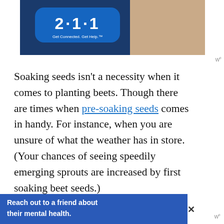[Figure (illustration): Advertisement banner for 211 service showing a speech bubble with '2·1·1' text, tagline 'Get Connected. Get Help.' and a woman holding a phone to her ear]
Soaking seeds isn't a necessity when it comes to planting beets. Though there are times when pre-soaking seeds comes in handy. For instance, when you are unsure of what the weather has in store. (Your chances of seeing speedily emerging sprouts are increased by first soaking beet seeds.)
The next thing you'll want to do as you pla
[Figure (screenshot): Blue advertisement banner at the bottom reading 'Reach out to a friend about their mental health.' with a close (X) button and weatherbug icon]